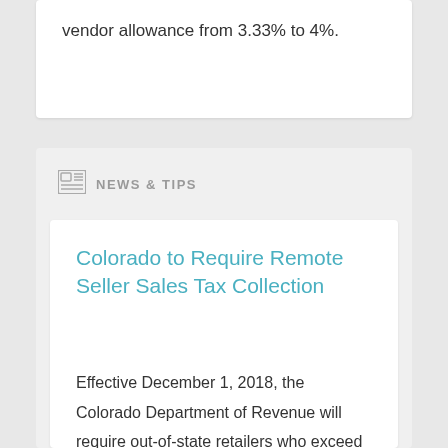vendor allowance from 3.33% to 4%.
NEWS & TIPS
Colorado to Require Remote Seller Sales Tax Collection
Effective December 1, 2018, the Colorado Department of Revenue will require out-of-state retailers who exceed the state’s economic threshold to collect and remit retailer’s use tax.